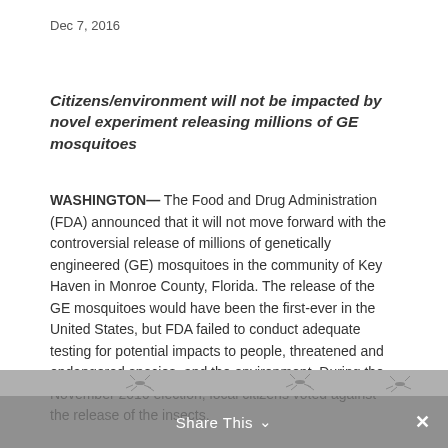Dec 7, 2016
Citizens/environment will not be impacted by novel experiment releasing millions of GE mosquitoes
WASHINGTON— The Food and Drug Administration (FDA) announced that it will not move forward with the controversial release of millions of genetically engineered (GE) mosquitoes in the community of Key Haven in Monroe County, Florida. The release of the GE mosquitoes would have been the first-ever in the United States, but FDA failed to conduct adequate testing for potential impacts to people, threatened and endangered species, and the environment. During the November 2016 election, local citizens voted against the release of the insects.
[Figure (photo): Photo strip showing mosquitoes silhouetted against a gray background]
Share This